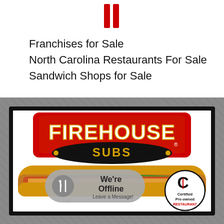[Figure (logo): Two vertical red bars icon at the top center]
Franchises for Sale
North Carolina Restaurants For Sale
Sandwich Shops for Sale
[Figure (photo): Firehouse Subs advertisement showing the Firehouse Subs logo, a submarine sandwich, an offline chat bubble reading 'We're Offline Leave a Message!', and a Certified Pre-owned Restaurant badge]